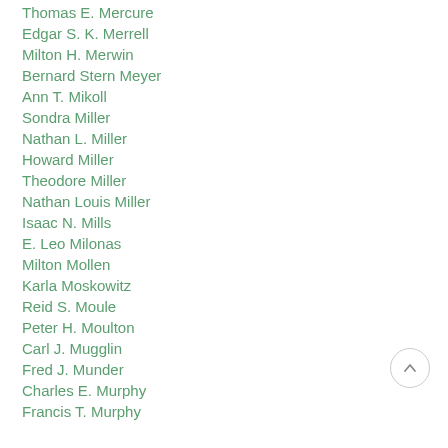Thomas E. Mercure
Edgar S. K. Merrell
Milton H. Merwin
Bernard Stern Meyer
Ann T. Mikoll
Sondra Miller
Nathan L. Miller
Howard Miller
Theodore Miller
Nathan Louis Miller
Isaac N. Mills
E. Leo Milonas
Milton Mollen
Karla Moskowitz
Reid S. Moule
Peter H. Moulton
Carl J. Mugglin
Fred J. Munder
Charles E. Murphy
Francis T. Murphy